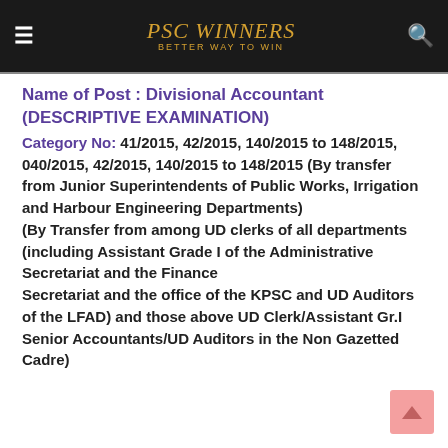PSC WINNERS – BETTER WAY TO WIN
Name of Post : Divisional Accountant (DESCRIPTIVE EXAMINATION)
Category No: 41/2015, 42/2015, 140/2015 to 148/2015, 040/2015, 42/2015, 140/2015 to 148/2015 (By transfer from Junior Superintendents of Public Works, Irrigation and Harbour Engineering Departments) (By Transfer from among UD clerks of all departments (including Assistant Grade I of the Administrative Secretariat and the Finance Secretariat and the office of the KPSC and UD Auditors of the LFAD) and those above UD Clerk/Assistant Gr.I Senior Accountants/UD Auditors in the Non Gazetted Cadre)